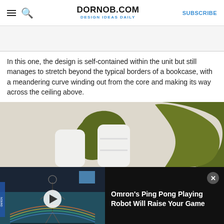DORNOB.COM DESIGN IDEAS DAILY — SUBSCRIBE
In this one, the design is self-contained within the unit but still manages to stretch beyond the typical borders of a bookcase, with a meandering curve winding out from the core and making its way across the ceiling above.
[Figure (photo): Photo of a white bookcase/shelf unit with organic dark green moss-like cutout backing shapes that extend beyond the shelf edges onto the wall and ceiling]
[Figure (screenshot): Video player overlay showing a robot playing ping pong, with title 'Omron's Ping Pong Playing Robot Will Raise Your Game' and a close button]